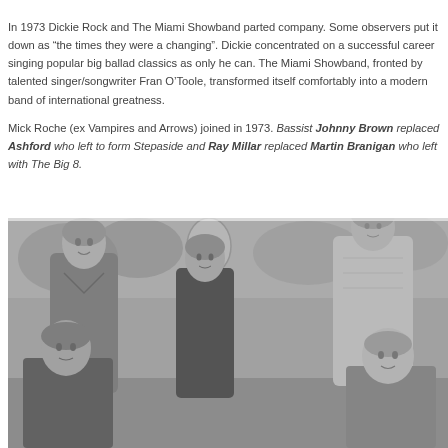In 1973 Dickie Rock and The Miami Showband parted company. Some observers put it down as "the times they were a changing". Dickie concentrated on a successful career singing popular big ballad classics as only he can. The Miami Showband, fronted by talented singer/songwriter Fran O'Toole, transformed itself comfortably into a modern band of international greatness.
Mick Roche (ex Vampires and Arrows) joined in 1973. Bassist Johnny Brown replaced Ashford who left to form Stepaside and Ray Millar replaced Martin Branigan who left with The Big 8.
[Figure (photo): Black and white group photograph of five young people (The Miami Showband members) posed outdoors near what appears to be a parking meter or pole. Two people are standing in the back, two are crouching or sitting lower in the front, and one is in the center. Trees are visible in the background.]